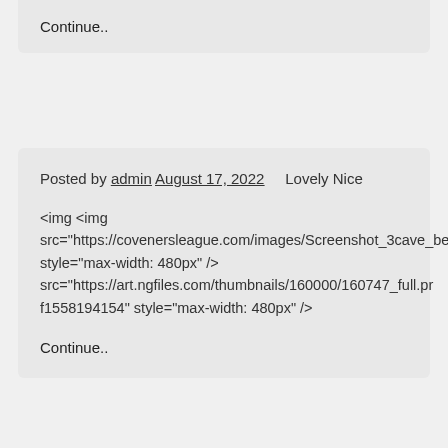Continue..
Posted by admin August 17, 2022    Lovely Nice
<img <img src="https://covenersleague.com/images/Screenshot_3cave_be style="max-width: 480px" /> src="https://art.ngfiles.com/thumbnails/160000/160747_full.pr f1558194154" style="max-width: 480px" />
Continue..